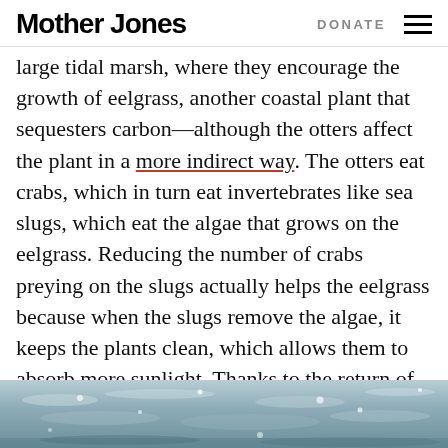Mother Jones | DONATE
large tidal marsh, where they encourage the growth of eelgrass, another coastal plant that sequesters carbon—although the otters affect the plant in a more indirect way. The otters eat crabs, which in turn eat invertebrates like sea slugs, which eat the algae that grows on the eelgrass. Reducing the number of crabs preying on the slugs actually helps the eelgrass because when the slugs remove the algae, it keeps the plants clean, which allows them to absorb more sunlight. Thanks to the return of the otters, the amount of eelgrass in Elkhorn Slough has jumped 600 percent in the last three decades.
[Figure (photo): Photograph of water surface with light reflections, likely a coastal marsh or slough scene.]